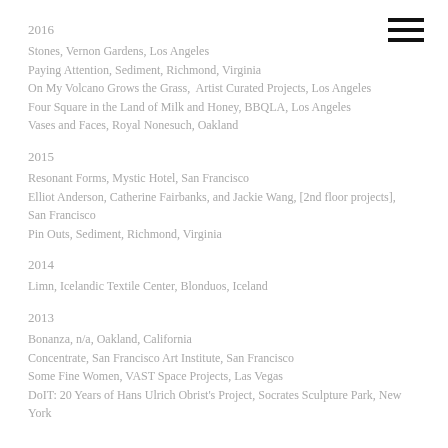[Figure (other): Hamburger menu icon (three horizontal lines) in top right corner]
2016
Stones, Vernon Gardens, Los Angeles
Paying Attention, Sediment, Richmond, Virginia
On My Volcano Grows the Grass,  Artist Curated Projects, Los Angeles
Four Square in the Land of Milk and Honey, BBQLA, Los Angeles
Vases and Faces, Royal Nonesuch, Oakland
2015
Resonant Forms, Mystic Hotel, San Francisco
Elliot Anderson, Catherine Fairbanks, and Jackie Wang, [2nd floor projects], San Francisco
Pin Outs, Sediment, Richmond, Virginia
2014
Limn, Icelandic Textile Center, Blonduos, Iceland
2013
Bonanza, n/a, Oakland, California
Concentrate, San Francisco Art Institute, San Francisco
Some Fine Women, VAST Space Projects, Las Vegas
DoIT: 20 Years of Hans Ulrich Obrist's Project, Socrates Sculpture Park, New York